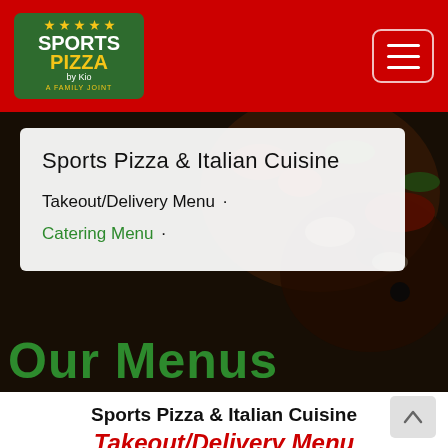Sports Pizza by Kio - Navigation header with logo and hamburger menu
[Figure (screenshot): Hero background image of pizza and vegetables with dark overlay]
Sports Pizza & Italian Cuisine
Takeout/Delivery Menu · Catering Menu ·
Our Menus
Sports Pizza & Italian Cuisine
Takeout/Delivery Menu
For takeout or delivery. We deliver within 4 miles with a $10.00 minimum, a $2.00 delivery charge &